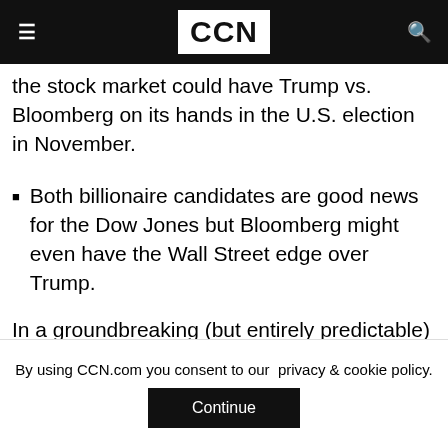CCN
the stock market could have Trump vs. Bloomberg on its hands in the U.S. election in November.
Both billionaire candidates are good news for the Dow Jones but Bloomberg might even have the Wall Street edge over Trump.
In a groundbreaking (but entirely predictable) shift in U.S. politics, former Democratic frontrunner Joe Biden has slipped to third in the nominee standings behind Bernie Sanders and Michael Bloomberg.
By using CCN.com you consent to our privacy & cookie policy. Continue